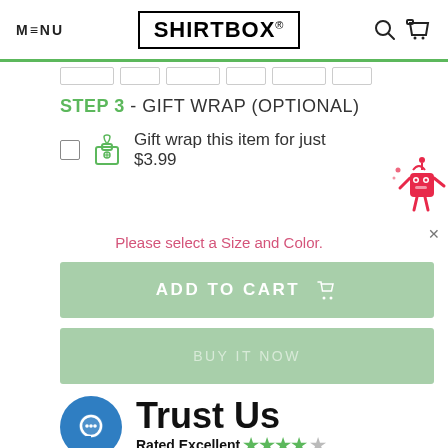MENU | SHIRTBOX® | [search icon] [cart icon]
STEP 3 - GIFT WRAP (OPTIONAL)
Gift wrap this item for just $3.99
Please select a Size and Color.
ADD TO CART
BUY IT NOW
Trust Us
Rated Excellent ★★★★☆